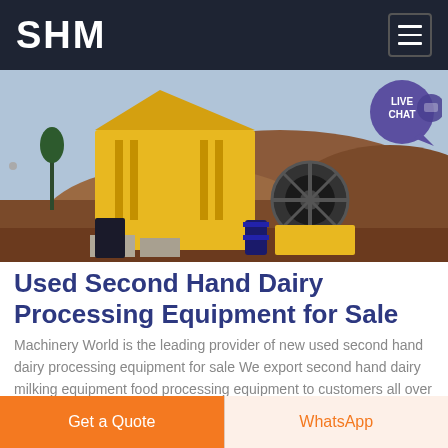SHM
[Figure (photo): Yellow heavy mining/crushing machinery on a dirt site with red earth mounds in the background. A live chat bubble badge is overlaid in the top-right corner.]
Used Second Hand Dairy Processing Equipment for Sale
Machinery World is the leading provider of new used second hand dairy processing equipment for sale We export second hand dairy milking equipment food processing equipment to customers all over the world
Get a Quote | WhatsApp